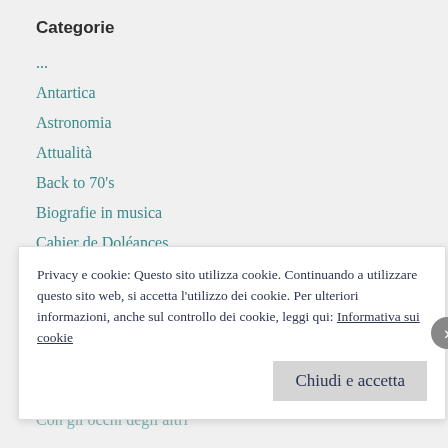Categorie
...
Antartica
Astronomia
Attualità
Back to 70's
Biografie in musica
Cahier de Doléances
Canzoni
Carl Gustav Jung
Cavez
Cinema/ TV/ Telefilm/ Serie
Citazioni
Con gli occhi degli altri
Privacy e cookie: Questo sito utilizza cookie. Continuando a utilizzare questo sito web, si accetta l'utilizzo dei cookie. Per ulteriori informazioni, anche sul controllo dei cookie, leggi qui: Informativa sui cookie
Chiudi e accetta